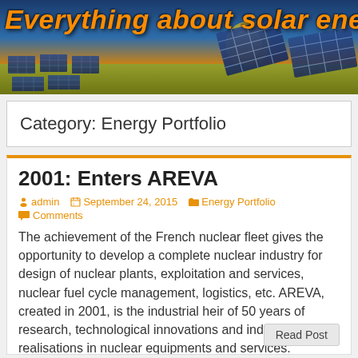Everything about solar energy
Category: Energy Portfolio
2001: Enters AREVA
admin   September 24, 2015   Energy Portfolio   Comments
The achievement of the French nuclear fleet gives the opportunity to develop a complete nuclear industry for design of nuclear plants, exploitation and services, nuclear fuel cycle management, logistics, etc. AREVA, created in 2001, is the industrial heir of 50 years of research, technological innovations and industrial realisations in nuclear equipments and services. Through its [...]
Read Post